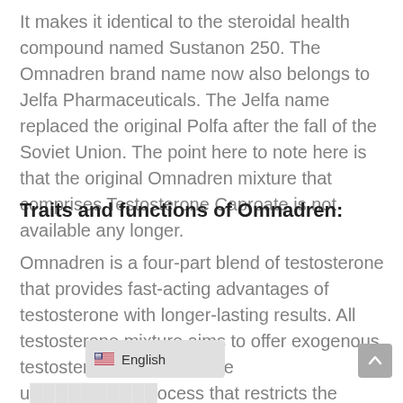It makes it identical to the steroidal health compound named Sustanon 250. The Omnadren brand name now also belongs to Jelfa Pharmaceuticals. The Jelfa name replaced the original Polfa after the fall of the Soviet Union. The point here to note here is that the original Omnadren mixture that comprises Testosterone Caproate is not available any longer.
Traits and functions of Omnadren:
Omnadren is a four-part blend of testosterone that provides fast-acting advantages of testosterone with longer-lasting results. All testosterone mixture aims to offer exogenous testosterone therapy to the u[...] process that restricts the whole